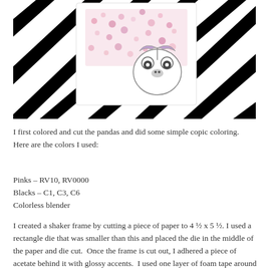[Figure (photo): A photo showing a white shaker card frame with panda illustration and pink sequins/gems inside, placed on a black and white diagonal striped background.]
I first colored and cut the pandas and did some simple copic coloring.
Here are the colors I used:
Pinks – RV10, RV0000
Blacks – C1, C3, C6
Colorless blender
I created a shaker frame by cutting a piece of paper to 4 ½ x 5 ½. I used a rectangle die that was smaller than this and placed the die in the middle of the paper and die cut.  Once the frame is cut out, I adhered a piece of acetate behind it with glossy accents.  I used one layer of foam tape around the frame which will hold the shaker bits in.  I then filled the well with my favorite sparkly pieces.  For this shaker I used clear sequins, gold mini stars and larger clear stars.  You can